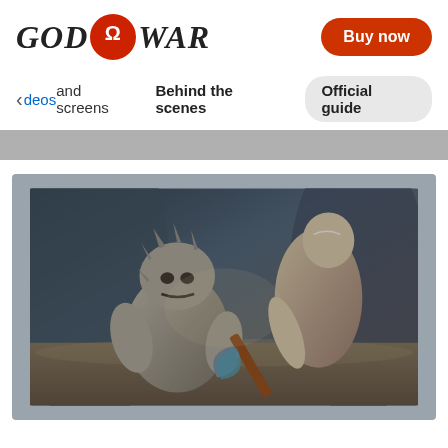GOD OF WAR | Buy now
< deos and screens   Behind the scenes   Official guide
[Figure (screenshot): God of War game screenshot showing Kratos wielding an axe facing a large stone creature/troll in a dark cave environment]
God of War gameplay screenshot